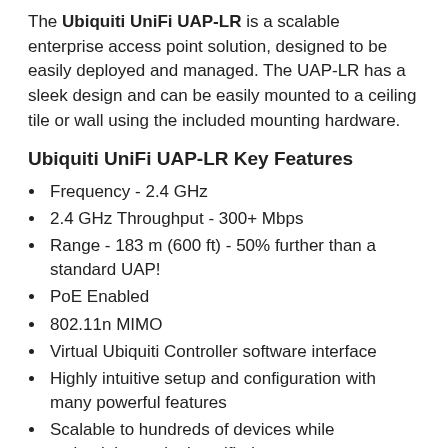The Ubiquiti UniFi UAP-LR is a scalable enterprise access point solution, designed to be easily deployed and managed. The UAP-LR has a sleek design and can be easily mounted to a ceiling tile or wall using the included mounting hardware.
Ubiquiti UniFi UAP-LR Key Features
Frequency - 2.4 GHz
2.4 GHz Throughput - 300+ Mbps
Range - 183 m (600 ft) - 50% further than a standard UAP!
PoE Enabled
802.11n MIMO
Virtual Ubiquiti Controller software interface
Highly intuitive setup and configuration with many powerful features
Scalable to hundreds of devices while maintaining a single unified management system